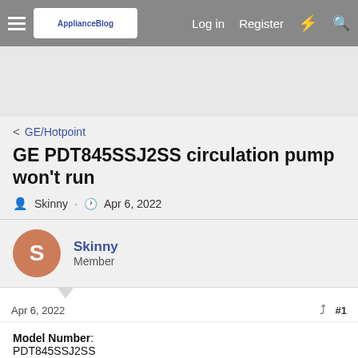Navigation bar with hamburger menu, logo, Log in, Register, lightning icon, search icon
[Figure (screenshot): Advertisement banner area (gray background)]
< GE/Hotpoint
GE PDT845SSJ2SS circulation pump won't run
Skinny · Apr 6, 2022
Skinny
Member
Apr 6, 2022
#1
Model Number:
PDT845SSJ2SS
Brand:
GE
Age: